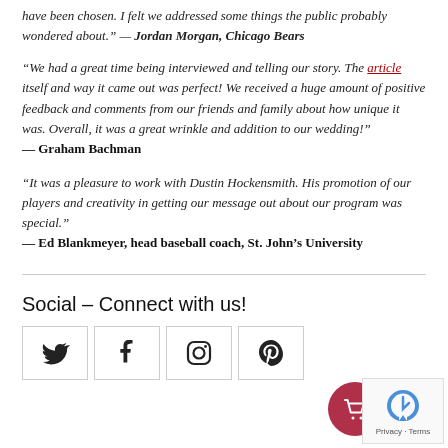have been chosen. I felt we addressed some things the public probably wondered about." — Jordan Morgan, Chicago Bears
"We had a great time being interviewed and telling our story. The article itself and way it came out was perfect! We received a huge amount of positive feedback and comments from our friends and family about how unique it was. Overall, it was a great wrinkle and addition to our wedding!" — Graham Bachman
"It was a pleasure to work with Dustin Hockensmith. His promotion of our players and creativity in getting our message out about our program was special." — Ed Blankmeyer, head baseball coach, St. John's University
Social – Connect with us!
[Figure (other): Social media icons row: Twitter, Facebook, Instagram, Pinterest]